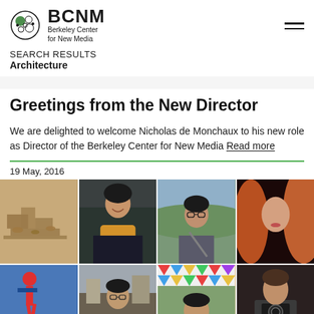BCNM Berkeley Center for New Media
SEARCH RESULTS Architecture
Greetings from the New Director
We are delighted to welcome Nicholas de Monchaux to his new role as Director of the Berkeley Center for New Media Read more
19 May, 2016
[Figure (photo): Grid of photos showing architectural model and people portraits]